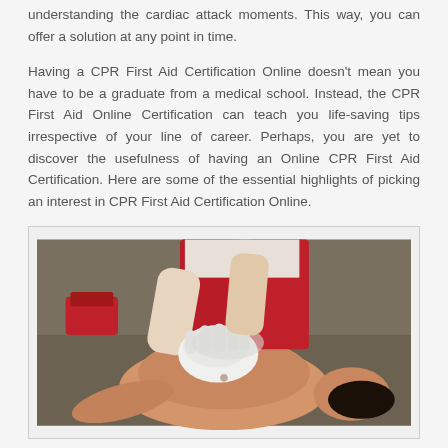understanding the cardiac attack moments. This way, you can offer a solution at any point in time.
Having a CPR First Aid Certification Online doesn't mean you have to be a graduate from a medical school. Instead, the CPR First Aid Online Certification can teach you life-saving tips irrespective of your line of career. Perhaps, you are yet to discover the usefulness of having an Online CPR First Aid Certification. Here are some of the essential highlights of picking an interest in CPR First Aid Certification Online.
[Figure (photo): Photo of a person in red pants wearing white gloves performing CPR chest compressions on a CPR training mannequin on the ground outdoors.]
1. Simplified Procedures